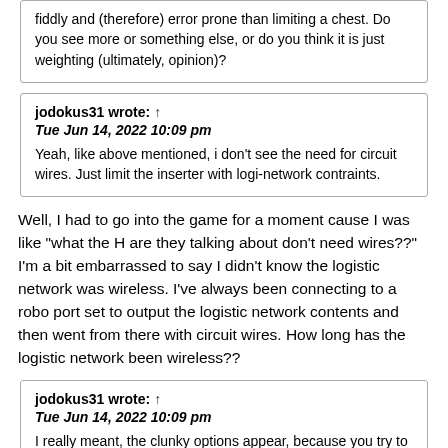fiddly and (therefore) error prone than limiting a chest. Do you see more or something else, or do you think it is just weighting (ultimately, opinion)?
jodokus31 wrote: ↑ Tue Jun 14, 2022 10:09 pm Yeah, like above mentioned, i don't see the need for circuit wires. Just limit the inserter with logi-network contraints.
Well, I had to go into the game for a moment cause I was like "what the H are they talking about don't need wires??" I'm a bit embarrassed to say I didn't know the logistic network was wireless. I've always been connecting to a robo port set to output the logistic network contents and then went from there with circuit wires. How long has the logistic network been wireless??
jodokus31 wrote: ↑ Tue Jun 14, 2022 10:09 pm I really meant, the clunky options appear, because you try to change the designed behaviour to behave different. Precisely: try to empty the storage first. But if you configure with a static, inside-determinism, the